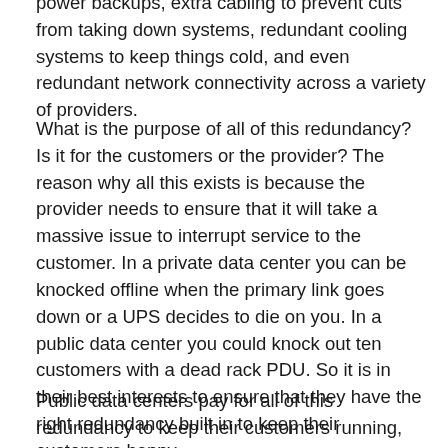power backups, extra cabling to prevent cuts from taking down systems, redundant cooling systems to keep things cold, and even redundant network connectivity across a variety of providers.
What is the purpose of all of this redundancy? Is it for the customers or the provider? The reason why all this exists is because the provider needs to ensure that it will take a massive issue to interrupt service to the customer. In a private data center you can be knocked offline when the primary link goes down or a UPS decides to die on you. In a public data center you could knock out ten customers with a dead rack PDU. So it is in their best interests to ensure that they have the right redundancy built in to keep their customers happy.
Public data centers pay for all of this redundancy to keep their customers running, but also because they can...